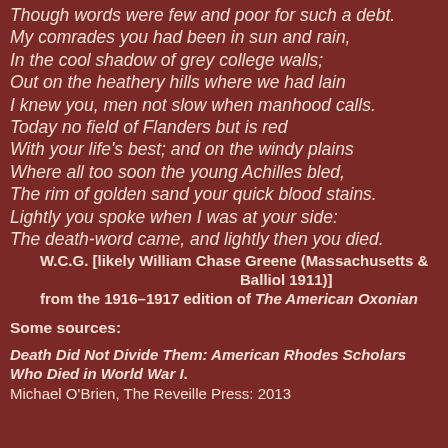Once more, and parted, and our hearts were warm,
Though words were few and poor for such a debt.
My comrades you had been in sun and rain,
In the cool shadow of grey college walls;
Out on the heathery hills where we had lain
I knew you, men not slow when manhood calls.
Today no field of Flanders but is red
With your life's best; and on the windy plains
Where all too soon the young Achilles bled,
The rim of golden sand your quick blood stains.
Lightly you spoke when I was at your side:
The death-word came, and lightly then you died.
W.C.G. [likely William Chase Greene (Massachusetts & Balliol 1911)]
from the 1916–1917 edition of The American Oxonian
Some sources:
Death Did Not Divide Them: American Rhodes Scholars Who Died in World War I.
Michael O'Brien, The Reveille Press: 2013